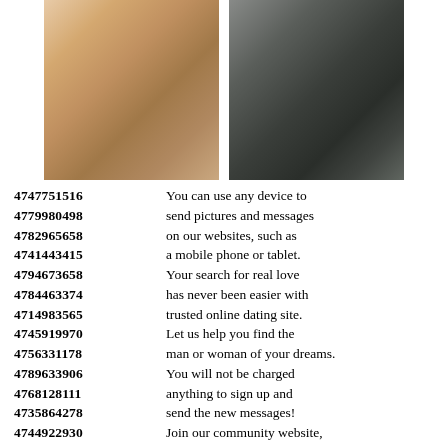[Figure (photo): Two photos of young blonde women side by side at the top of the page]
4747751516  You can use any device to
4779980498  send pictures and messages
4782965658  on our websites, such as
4741443415  a mobile phone or tablet.
4794673658  Your search for real love
4784463374  has never been easier with
4714983565  trusted online dating site.
4745919970  Let us help you find the
4756331178  man or woman of your dreams.
4789633906  You will not be charged
4768128111  anything to sign up and
4735864278  send the new messages!
4744922930  Join our community website,
4794562117  check out your matches,
4714485363  send a quick message and
4758597137  get a feel for what the
4794306496  site is really nice and
4761344825  was very helpful and friendly.